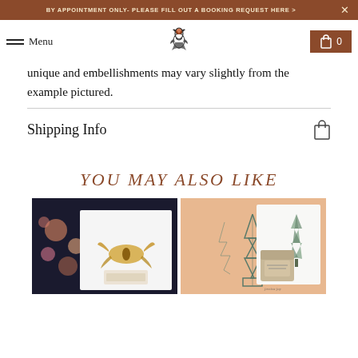BY APPOINTMENT ONLY- PLEASE FILL OUT A BOOKING REQUEST HERE >
Menu [logo] 0
unique and embellishments may vary slightly from the example pictured.
Shipping Info
YOU MAY ALSO LIKE
[Figure (photo): Two product photos side by side: left shows a dark floral-patterned item with a moth illustration on white card; right shows a pine-tree illustrated card with a jar of product on pink wrapping paper.]